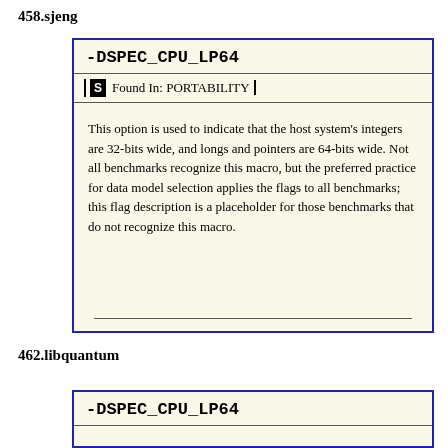458.sjeng
-DSPEC_CPU_LP64
Found In: PORTABILITY
This option is used to indicate that the host system's integers are 32-bits wide, and longs and pointers are 64-bits wide. Not all benchmarks recognize this macro, but the preferred practice for data model selection applies the flags to all benchmarks; this flag description is a placeholder for those benchmarks that do not recognize this macro.
462.libquantum
-DSPEC_CPU_LP64